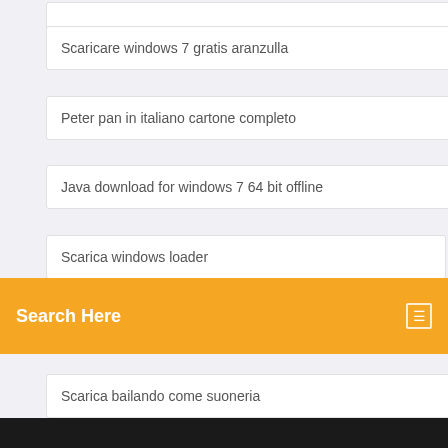Scaricare windows 7 gratis aranzulla
Peter pan in italiano cartone completo
Java download for windows 7 64 bit offline
Scarica windows loader
Search Here
Scarica bailando come suoneria